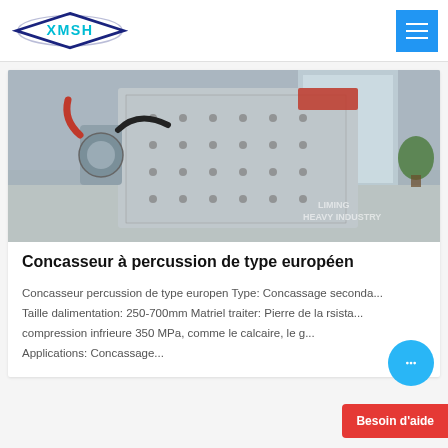XMSH
[Figure (photo): Industrial impact crusher machine (European type percussion crusher) on display in a facility, large grey metal machine with bolted plate panels]
Concasseur à percussion de type européen
Concasseur percussion de type europen Type: Concassage seconda... Taille dalimentation: 250-700mm Matriel traiter: Pierre de la rsistance compression infrieure 350 MPa, comme le calcaire, le g... Applications: Concassage...